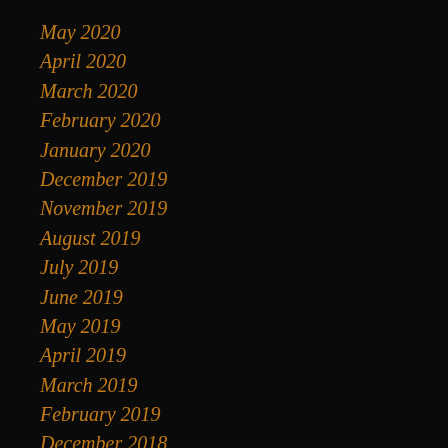May 2020
April 2020
March 2020
February 2020
January 2020
December 2019
November 2019
August 2019
July 2019
June 2019
May 2019
April 2019
March 2019
February 2019
December 2018
November 2018
October 2018
September 2018
August 2018